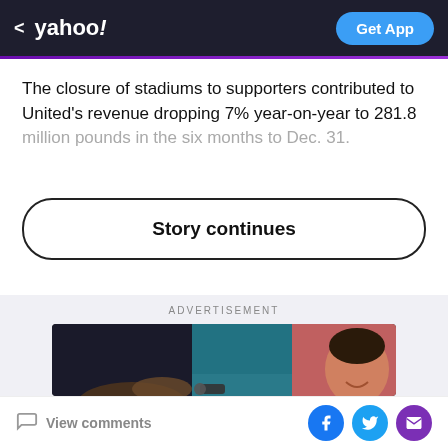< yahoo!  Get App
The closure of stadiums to supporters contributed to United's revenue dropping 7% year-on-year to 281.8 million pounds in the six months to Dec. 31.
Story continues
ADVERTISEMENT
[Figure (photo): Advertisement photo showing a smiling woman in a red top receiving car keys from someone outside a car window.]
View comments